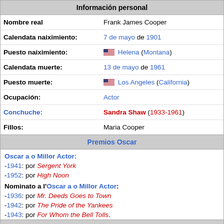Información personal
| Nombre real | Frank James Cooper |
| Calendata naiximiento: | 7 de mayo de 1901 |
| Puesto naiximiento: | 🇺🇸 Helena (Montana) |
| Calendata muerte: | 13 de mayo de 1961 |
| Puesto muerte: | 🇺🇸 Los Angeles (California) |
| Ocupación: | Actor |
| Conchuche: | Sandra Shaw (1933-1961) |
| Fillos: | Maria Cooper |
Premios Oscar
Oscar a o Millor Actor:
-1941: por Sergent York
-1952: por High Noon
Nominato a l'Oscar a o Millor Actor:
-1936: por Mr. Deeds Goes to Town
-1942: por The Pride of the Yankees
-1943: por For Whom the Bell Tolls.
Globos d'Oro